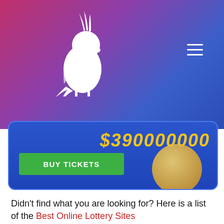[Figure (screenshot): Website header with gradient background (pink to purple to blue) featuring a white cockatiel bird logo/silhouette on the left and a hamburger menu icon on the right]
$390000000
[Figure (illustration): Green BUY TICKETS button inside a blue rounded card, with a gold coin partially visible on the right]
Didn't find what you are looking for? Here is a list of the Best Online Lottery Sites
Shortcuts
About
Information
[Figure (screenshot): SuperEnalotto lottery popup card showing € 258.3 Million with Draw date 23/08/2022 and orange PLAY button]
[Figure (screenshot): Mega Millions lottery popup card showing US$ 116 Million with Draw date 23/08/2022 and orange PLAY button]